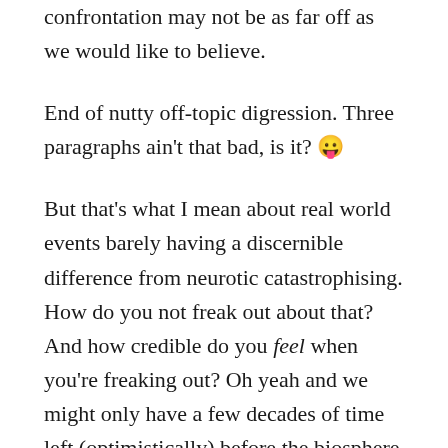confrontation may not be as far off as we would like to believe.
End of nutty off-topic digression. Three paragraphs ain't that bad, is it? 😛
But that's what I mean about real world events barely having a discernible difference from neurotic catastrophising. How do you not freak out about that? And how credible do you feel when you're freaking out? Oh yeah and we might only have a few decades of time left (optimistically) before the biosphere starts to go seriously tits up.
If you don't feel close to the edge then you're not paying attention. Problem is, real world events can be dangerously enabling for our worst psychological